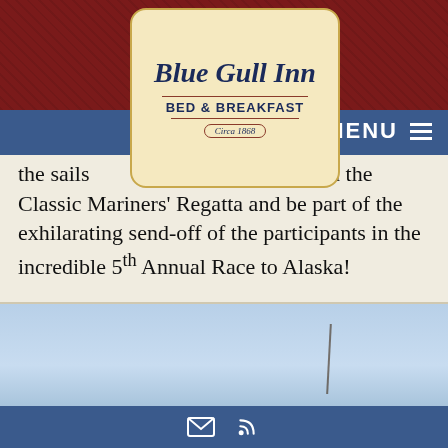Blue Gull Inn Bed & Breakfast — Est. 1868 — MENU
the sails [obscured by logo] boats in the Classic Mariners' Regatta and be part of the exhilarating send-off of the participants in the incredible 5th Annual Race to Alaska!
From the Taste of Port Townsend event for foodies and the Brass Screw Confederacy Steampunk Festival to music galore with Centrum and so much more, we know you'll love the adventure of surprise and delight when you join the fun this month in Port Townsend!
[Figure (photo): Partial photo of a sailboat mast against a light blue sky, cropped at bottom of page]
Email and RSS feed icons